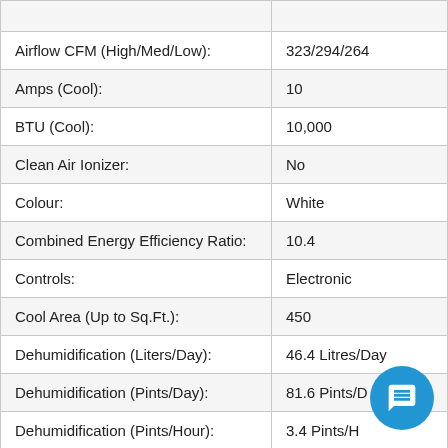| Specification | Value |
| --- | --- |
| Airflow CFM (High/Med/Low): | 323/294/264 |
| Amps (Cool): | 10 |
| BTU (Cool): | 10,000 |
| Clean Air Ionizer: | No |
| Colour: | White |
| Combined Energy Efficiency Ratio: | 10.4 |
| Controls: | Electronic |
| Cool Area (Up to Sq.Ft.): | 450 |
| Dehumidification (Liters/Day): | 46.4 Litres/Day |
| Dehumidification (Pints/Day): | 81.6 Pints/Day |
| Dehumidification (Pints/Hour): | 3.4 Pints/Hour |
| Depth (in.): | 22.4 (2L...) |